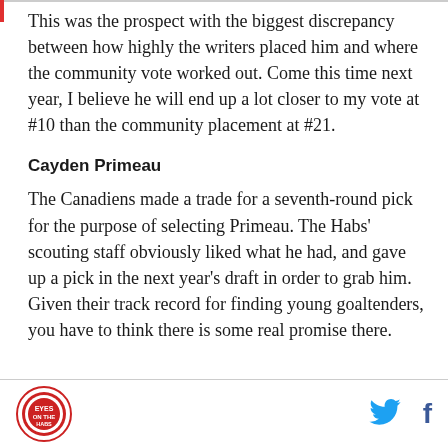This was the prospect with the biggest discrepancy between how highly the writers placed him and where the community vote worked out. Come this time next year, I believe he will end up a lot closer to my vote at #10 than the community placement at #21.
Cayden Primeau
The Canadiens made a trade for a seventh-round pick for the purpose of selecting Primeau. The Habs' scouting staff obviously liked what he had, and gave up a pick in the next year's draft in order to grab him. Given their track record for finding young goaltenders, you have to think there is some real promise there.